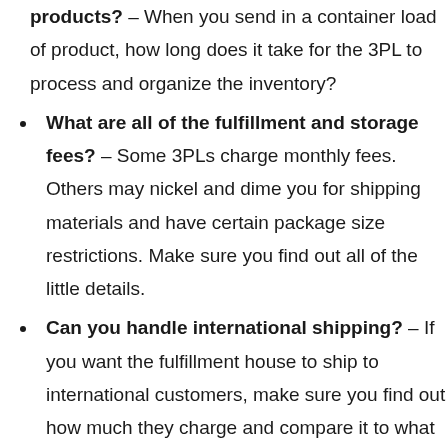products? – When you send in a container load of product, how long does it take for the 3PL to process and organize the inventory?
What are all of the fulfillment and storage fees? – Some 3PLs charge monthly fees. Others may nickel and dime you for shipping materials and have certain package size restrictions. Make sure you find out all of the little details.
Can you handle international shipping? – If you want the fulfillment house to ship to international customers, make sure you find out how much they charge and compare it to what you are paying now. Sometimes there are